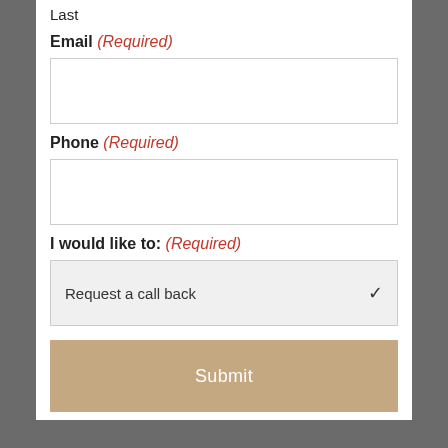Last
Email (Required)
Phone (Required)
I would like to: (Required)
Request a call back
Submit